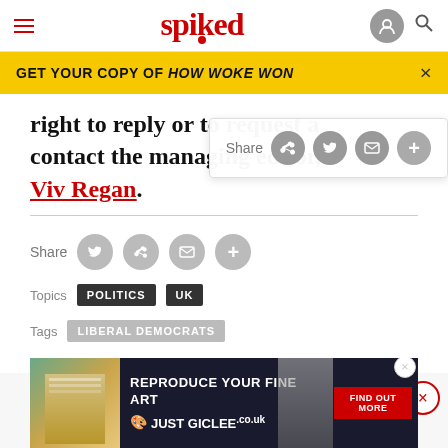spiked
GET YOUR COPY OF HOW WOKE WON
right to reply or to request a contact the managing editor, Viv Regan.
Share
Topics  POLITICS  UK
Tags  LIBERAL DEMOCRATS
COMMENTS
ABOUT
[Figure (screenshot): Advertisement banner for Just Giclee fine art reproduction service]